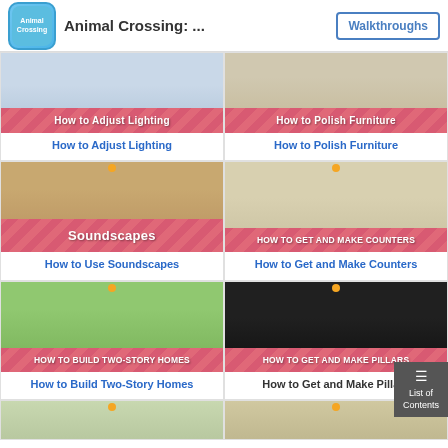Animal Crossing: ... | Walkthroughs
[Figure (screenshot): Thumbnail for How to Adjust Lighting guide with pink striped banner]
How to Adjust Lighting
[Figure (screenshot): Thumbnail for How to Polish Furniture guide with pink striped banner]
How to Polish Furniture
[Figure (screenshot): Thumbnail for How to Use Soundscapes guide with pink striped banner]
How to Use Soundscapes
[Figure (screenshot): Thumbnail for How to Get and Make Counters guide with pink striped banner]
How to Get and Make Counters
[Figure (screenshot): Thumbnail for How to Build Two-Story Homes guide with pink striped banner]
How to Build Two-Story Homes
[Figure (screenshot): Thumbnail for How to Get and Make Pillars guide with pink striped banner]
How to Get and Make Pillars
[Figure (screenshot): Partial thumbnails at bottom of page]
[Figure (screenshot): Partial thumbnails at bottom of page]